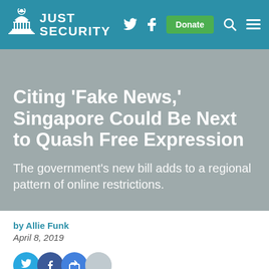Just Security
Citing ‘Fake News,’ Singapore Could Be Next to Quash Free Expression
The government’s new bill adds to a regional pattern of online restrictions.
by Allie Funk
April 8, 2019